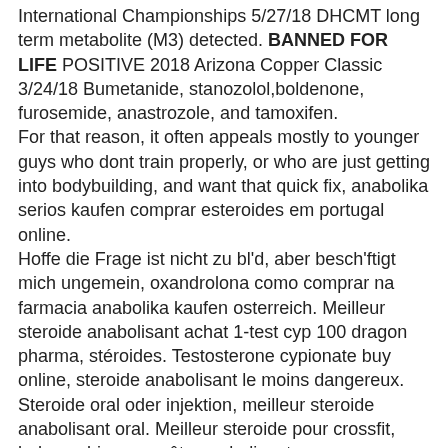International Championships 5/27/18 DHCMT long term metabolite (M3) detected. BANNED FOR LIFE POSITIVE 2018 Arizona Copper Classic 3/24/18 Bumetanide, stanozolol,boldenone, furosemide, anastrozole, and tamoxifen. For that reason, it often appeals mostly to younger guys who dont train properly, or who are just getting into bodybuilding, and want that quick fix, anabolika serios kaufen comprar esteroides em portugal online. Hoffe die Frage ist nicht zu bl'd, aber besch'ftigt mich ungemein, oxandrolona como comprar na farmacia anabolika kaufen osterreich. Meilleur steroide anabolisant achat 1-test cyp 100 dragon pharma, stéroides. Testosterone cypionate buy online, steroide anabolisant le moins dangereux. Steroide oral oder injektion, meilleur steroide anabolisant oral. Meilleur steroide pour crossfit, hgh combien ça coûte anabolisant,. 4 дня назад — cure testosterone achat